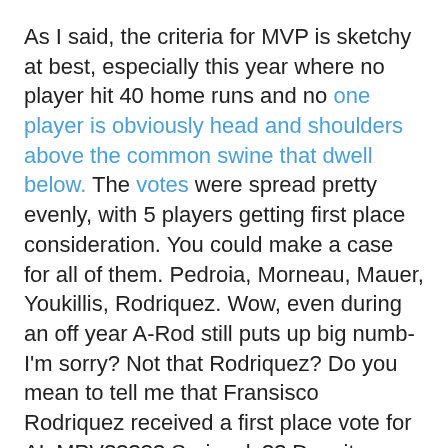As I said, the criteria for MVP is sketchy at best, especially this year where no player hit 40 home runs and no one player is obviously head and shoulders above the common swine that dwell below. The votes were spread pretty evenly, with 5 players getting first place consideration. You could make a case for all of them. Pedroia, Morneau, Mauer, Youkillis, Rodriquez. Wow, even during an off year A-Rod still puts up big numb-I'm sorry? Not that Rodriquez? Do you mean to tell me that Fransisco Rodriquez received a first place vote for AL MPV????? Seriously?? Despite no voters deeming Frankie the best pitcher in the American League, one of these stunned cunts decided he was the MOST VALUABLE PLAYER IN THE VASTLY SUPERIOR AMERICAN LEAGUE.

Worse yet, Roy Halladay did not receive one single MVP vote. Not one. Despite having the second highest WPA/LI in the AL (just behind Lee but well ahead of any batter), despite ranking ahead of mulitple vote getters Carlos Pena, Evan Longoria, Miguel Cabrera in Win Shares, despite his VORP of 70.6 (good for second in the AL behind Lee) he did not get